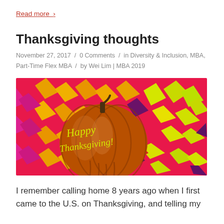Read more >
Thanksgiving thoughts
November 27, 2017  /  0 Comments  /  in Diversity & Inclusion, MBA, Part-Time Flex MBA  /  by Wei Lim | MBA 2019
[Figure (illustration): Thanksgiving illustration with a large orange pumpkin on the left and colorful autumn leaves (yellow, red, pink, purple) filling the background. Yellow italic script text reads 'Happy Thanksgiving!' on the pumpkin.]
I remember calling home 8 years ago when I first came to the U.S. on Thanksgiving, and telling my